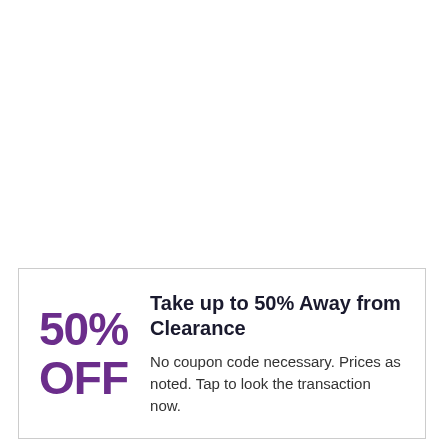50% OFF
Take up to 50% Away from Clearance
No coupon code necessary. Prices as noted. Tap to look the transaction now.